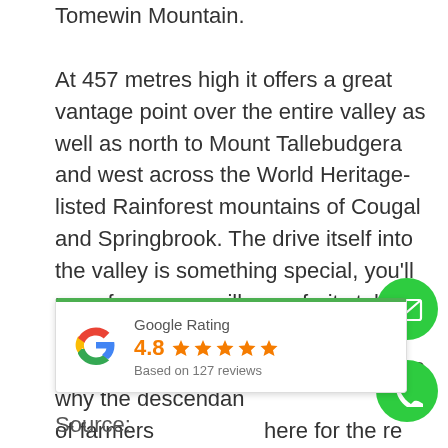Tomewin Mountain.

At 457 metres high it offers a great vantage point over the entire valley as well as north to Mount Tallebudgera and west across the World Heritage-listed Rainforest mountains of Cougal and Springbrook. The drive itself into the valley is something special, you'll pass farms, eco villages, fruit stalls, bed and breakfasts, homesteads, gardens and cottages. It's easy to see why the descendants of farmers still come here for the red dairy cattle and lush valley home
[Figure (other): Google Rating widget card showing 4.8 stars based on 127 reviews, with Google G logo and green top border]
[Figure (other): Green circular email button icon (envelope)]
[Figure (other): Green circular phone button icon (handset)]
Source: